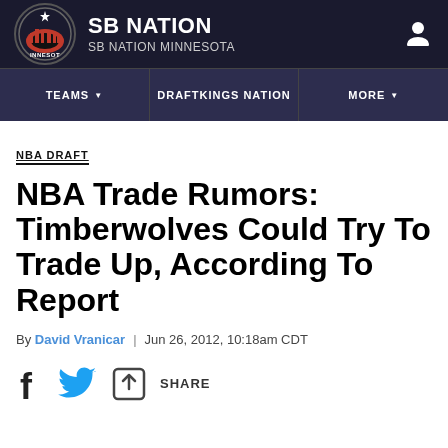[Figure (logo): SB Nation Minnesota site header with circular logo, SB NATION title and SB NATION MINNESOTA subtitle, and user icon]
TEAMS | DRAFTKINGS NATION | MORE
NBA DRAFT
NBA Trade Rumors: Timberwolves Could Try To Trade Up, According To Report
By David Vranicar | Jun 26, 2012, 10:18am CDT
[Figure (infographic): Social share icons: Facebook f icon, Twitter bird icon, and share/upload icon with SHARE text]